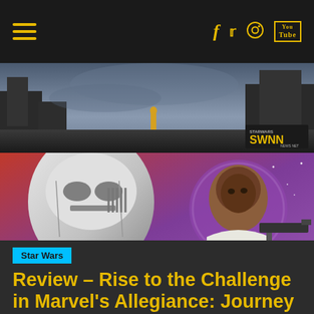Navigation header with hamburger menu and social icons (Facebook, Twitter, Instagram, YouTube)
[Figure (photo): Wide cinematic banner image showing a figure standing on ruins against a dramatic sky, with SWNN Star Wars News Net logo in lower right corner]
[Figure (illustration): Comic book artwork showing Star Wars characters: a First Order Stormtrooper, Finn (John Boyega) holding a blaster rifle, and Poe Dameron in the foreground, with a purple planet and TIE fighters in the background]
Star Wars
Review – Rise to the Challenge in Marvel's Allegiance: Journey to The